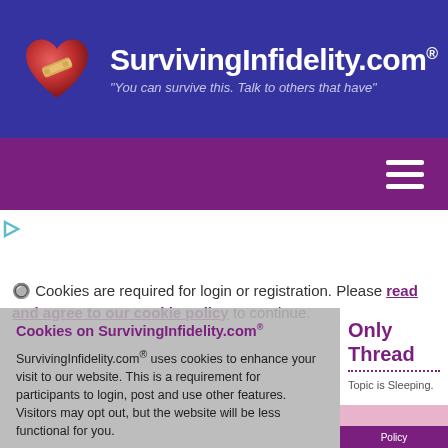SurvivingInfidelity.com® "You can survive this. Talk to others that have"
[Figure (logo): Heart with bandage logo for SurvivingInfidelity.com]
Cookies are required for login or registration. Please read and agree to our cookie policy to continue.
Only Thread
Topic is Sleeping.
Cookies on SurvivingInfidelity.com®
SurvivingInfidelity.com® uses cookies to enhance your visit to our website. This is a requirement for participants to login, post and use other features. Visitors may opt out, but the website will be less functional for you.
late
Policy